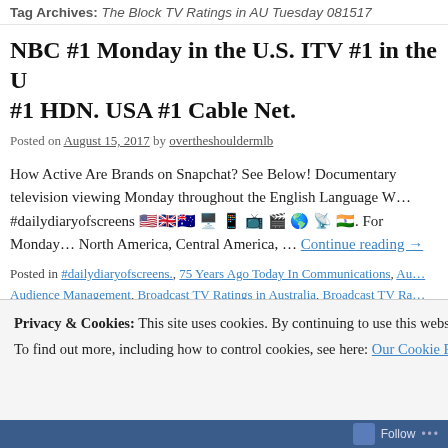Tag Archives: The Block TV Ratings in AU Tuesday 081517
NBC #1 Monday in the U.S. ITV #1 in the U… #1 HDN. USA #1 Cable Net.
Posted on August 15, 2017 by overtheshouldermlb
How Active Are Brands on Snapchat? See Below! Documentary television viewing Monday throughout the English Language W… #dailydiaryofscreens 🇺🇸🇬🇧🇦🇺💻📱📺🎬🌎📡🇮🇳. For Monday… North America, Central America, … Continue reading →
Posted in #dailydiaryofscreens., 75 Years Ago Today In Communications, Au… Audience Management, Broadcast TV Ratings in Australia, Broadcast TV Ra… US, Cable TV Ratings, Cinema, Daily Australian TV Ratings, Daily Broadcast… TV Cable Ratings, Daily TV Ratings in Argentina, Daily TV Ratings in Colomb… Ratings in Peru, Daily UK TV Ratings, Data, Digital, Direct, Hispanic TV Ratin…
Privacy & Cookies: This site uses cookies. By continuing to use this website, you agree to their use. To find out more, including how to control cookies, see here: Our Cookie Policy
Close and accept